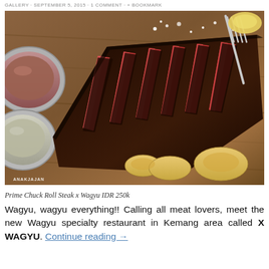GALLERY · SEPTEMBER 5, 2015 · 1 COMMENT · + BOOKMARK
[Figure (photo): A sliced wagyu steak on a wooden board with two sauce bowls and potato wedges, fork in upper right corner. Watermark: ANAKJAJAN]
Prime Chuck Roll Steak x Wagyu IDR 250k
Wagyu, wagyu everything!! Calling all meat lovers, meet the new Wagyu specialty restaurant in Kemang area called X WAGYU. Continue reading →